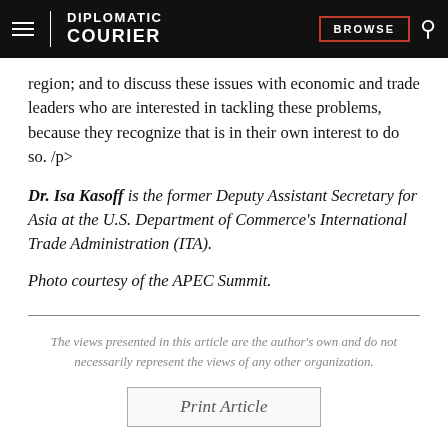DIPLOMATIC COURIER | BROWSE
region; and to discuss these issues with economic and trade leaders who are interested in tackling these problems, because they recognize that is in their own interest to do so. /p>
Dr. Isa Kasoff is the former Deputy Assistant Secretary for Asia at the U.S. Department of Commerce’s International Trade Administration (ITA).
Photo courtesy of the APEC Summit.
The views presented in this article are the author’s own and do not necessarily represent the views of any other organization.
Print Article